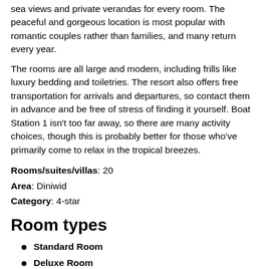sea views and private verandas for every room. The peaceful and gorgeous location is most popular with romantic couples rather than families, and many return every year.
The rooms are all large and modern, including frills like luxury bedding and toiletries. The resort also offers free transportation for arrivals and departures, so contact them in advance and be free of stress of finding it yourself. Boat Station 1 isn't too far away, so there are many activity choices, though this is probably better for those who've primarily come to relax in the tropical breezes.
Rooms/suites/villas: 20
Area: Diniwid
Category: 4-star
Room types
Standard Room
Deluxe Room